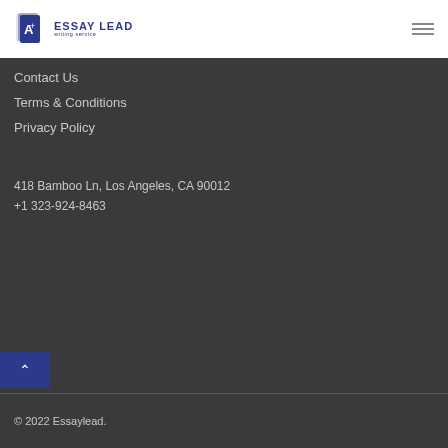Essay Lead writing service
Contact Us
Terms & Conditions
Privacy Policy
418 Bamboo Ln, Los Angeles, CA 90012
+1 323-924-8463
© 2022 Essaylead.